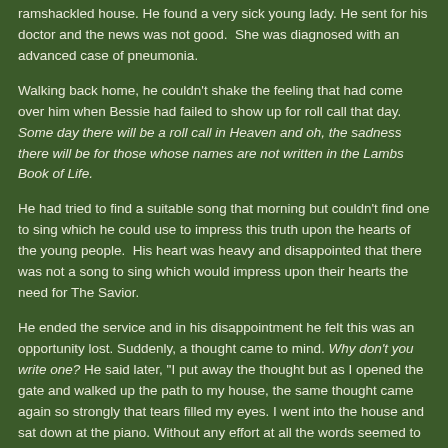ramshackled house. He found a very sick young lady. He sent for his doctor and the news was not good. She was diagnosed with an advanced case of pneumonia.
Walking back home, he couldn't shake the feeling that had come over him when Bessie had failed to show up for roll call that day. Some day there will be a roll call in Heaven and oh, the sadness there will be for those whose names are not written in the Lambs Book of Life.
He had tried to find a suitable song that morning but couldn't find one to sing which he could use to impress this truth upon the hearts of the young people. His heart was heavy and disappointed that there was not a song to sing which would impress upon their hearts the need for The Savior.
He ended the service and in his disappointment he felt this was an opportunity lost. Suddenly, a thought came to mind. Why don't you write one? He said later, "I put away the thought but as I opened the gate and walked up the path to my house, the same thought came again so strongly that tears filled my eyes. I went into the house and sat down at the piano. Without any effort at all the words seemed to tumble from my mind."